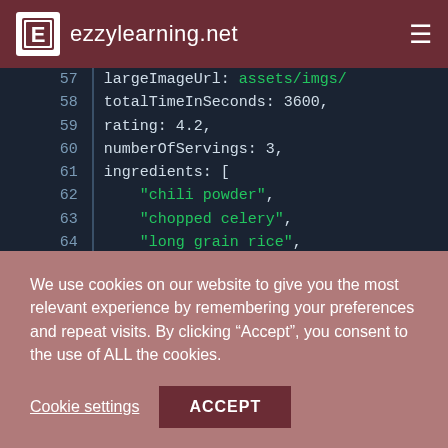ezzylearning.net
[Figure (screenshot): Code editor screenshot showing JSON/JavaScript object properties: lines 57-64 with largeImageUrl pointing to assets/imgs/, totalTimeInSeconds: 3600, rating: 4.2, numberOfServings: 3, ingredients: [ with string values 'chili powder', 'chopped celery', 'long grain rice']
We use cookies on our website to give you the most relevant experience by remembering your preferences and repeat visits. By clicking “Accept”, you consent to the use of ALL the cookies.
Cookie settings  ACCEPT